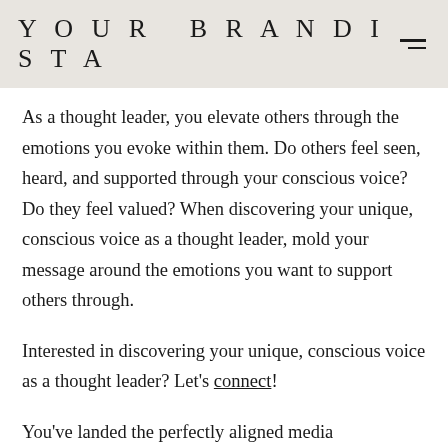YOUR BRANDISTA
As a thought leader, you elevate others through the emotions you evoke within them. Do others feel seen, heard, and supported through your conscious voice? Do they feel valued? When discovering your unique, conscious voice as a thought leader, mold your message around the emotions you want to support others through.
Interested in discovering your unique, conscious voice as a thought leader? Let’s connect!
You’ve landed the perfectly aligned media